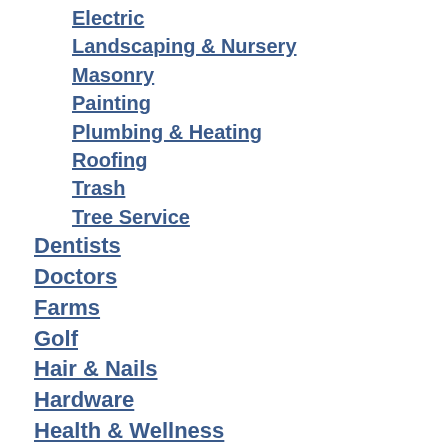Electric
Landscaping & Nursery
Masonry
Painting
Plumbing & Heating
Roofing
Trash
Tree Service
Dentists
Doctors
Farms
Golf
Hair & Nails
Hardware
Health & Wellness
Horse Riding & Stables
Industrial
Lodging
Nonprofit
Parks & Recreation
Pets & Supplies
Post Offices (USPS)
Professional Services